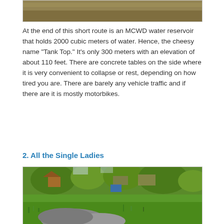[Figure (photo): Top portion of an outdoor photo showing a dirt/gravel path or road area with some vegetation]
At the end of this short route is an MCWD water reservoir that holds 2000 cubic meters of water. Hence, the cheesy name “Tank Top.” It's only 300 meters with an elevation of about 110 feet. There are concrete tables on the side where it is very convenient to collapse or rest, depending on how tired you are. There are barely any vehicle traffic and if there are it is mostly motorbikes.
2. All the Single Ladies
[Figure (photo): Outdoor photo showing a tropical/rural scene with lush green vegetation, trees, some houses or structures in the background, and large rocks or boulders in the foreground with grass growing around them]